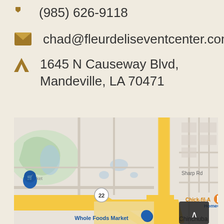(985) 626-9118
chad@fleurdeliseventcenter.com
1645 N Causeway Blvd, Mandeville, LA 70471
[Figure (map): Google Maps showing area around 1645 N Causeway Blvd, Mandeville, LA with labels for Chick-fil-A, HomeGoods, Whole Foods Market, Chinchuba, Sharp Rd, and route 22]